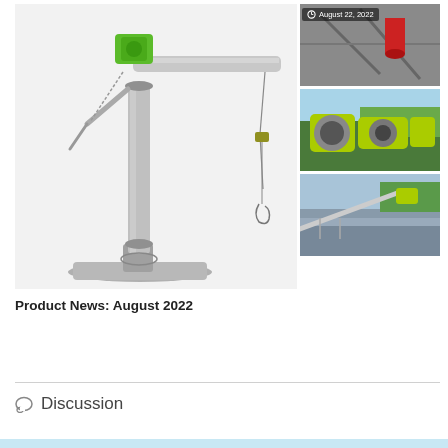[Figure (photo): A jib crane / davit crane with a green electric hoist motor at the top, a horizontal steel boom arm, a vertical steel mast column on a flanged base plate, and a hook hanging from a wire rope — mounted on a pedestal base. The equipment is metallic/galvanized steel.]
[Figure (photo): Close-up photo of lifting/rigging equipment components on a metal structure, with red cylindrical element visible, dated August 22, 2022.]
[Figure (photo): Photo of a yellow-green electric winch or hoist drum unit installed on a rooftop or elevated industrial platform, with green trees in the background.]
[Figure (photo): Photo showing a jib crane arm or davit arm extended, mounted on an industrial roof or platform structure, with yellow-green hoisting equipment visible at right, green trees in the background.]
Product News: August 2022
Discussion